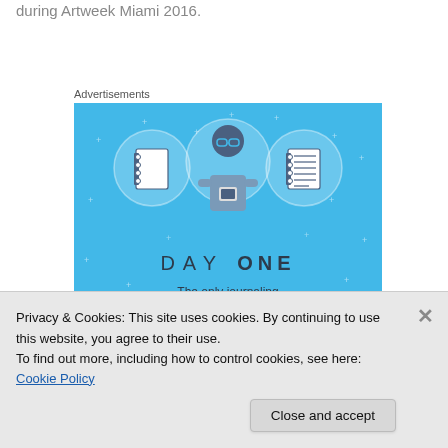during Artweek Miami 2016.
Advertisements
[Figure (illustration): Day One app advertisement on a sky blue background. Shows three circular icons with notebook/journal graphics flanking a central illustration of a person using a phone. Text reads 'DAY ONE – The only journaling app you'll ever need.']
Privacy & Cookies: This site uses cookies. By continuing to use this website, you agree to their use.
To find out more, including how to control cookies, see here: Cookie Policy
Close and accept